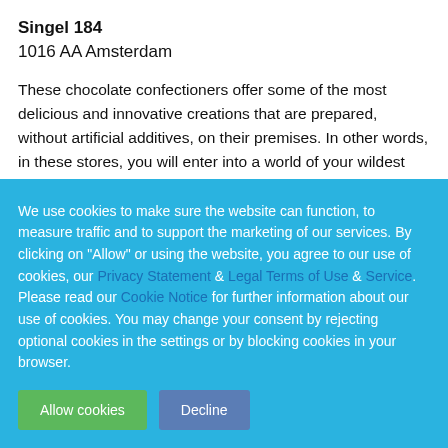Singel 184
1016 AA Amsterdam
These chocolate confectioners offer some of the most delicious and innovative creations that are prepared, without artificial additives, on their premises. In other words, in these stores, you will enter into a world of your wildest chocolate dreams!
We use cookies to make sure the website can function, to measure traffic and to support the marketing of our services. By clicking on "Allow" or using the website, you agree to our use of cookies, our Privacy Statement & Legal Terms of Use & Service. Please read our Cookie Notice for further information about our use of cookies. You may change your consent by rejecting optional cookies in the settings or by blocking cookies in your browser.